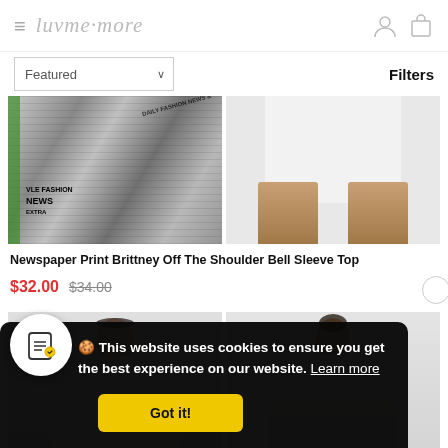luvme more
Featured  Filters
[Figure (photo): Newspaper print fabric close-up showing fashion news print pattern, and product photo showing sandals/feet with white pants]
Newspaper Print Brittney Off The Shoulder Bell Sleeve Top
$32.00  $34.00
[Figure (photo): Two female models in fashion clothing, partial view]
🍪 This website uses cookies to ensure you get the best experience on our website. Learn more
Got it!